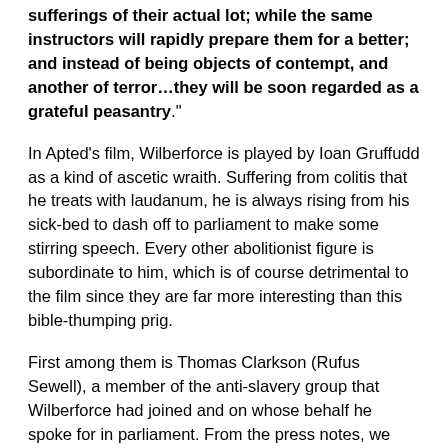sufferings of their actual lot; while the same instructors will rapidly prepare them for a better; and instead of being objects of contempt, and another of terror…they will be soon regarded as a grateful peasantry."
In Apted's film, Wilberforce is played by Ioan Gruffudd as a kind of ascetic wraith. Suffering from colitis that he treats with laudanum, he is always rising from his sick-bed to dash off to parliament to make some stirring speech. Every other abolitionist figure is subordinate to him, which is of course detrimental to the film since they are far more interesting than this bible-thumping prig.
First among them is Thomas Clarkson (Rufus Sewell), a member of the anti-slavery group that Wilberforce had joined and on whose behalf he spoke for in parliament. From the press notes, we learn that Clarkson was a "first...